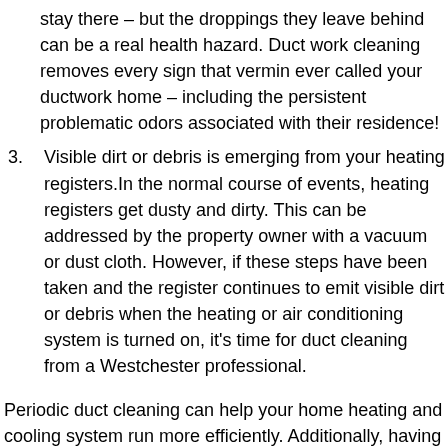stay there – but the droppings they leave behind can be a real health hazard. Duct work cleaning removes every sign that vermin ever called your ductwork home – including the persistent problematic odors associated with their residence!
3. Visible dirt or debris is emerging from your heating registers.In the normal course of events, heating registers get dusty and dirty. This can be addressed by the property owner with a vacuum or dust cloth. However, if these steps have been taken and the register continues to emit visible dirt or debris when the heating or air conditioning system is turned on, it's time for duct cleaning from a Westchester professional.
Periodic duct cleaning can help your home heating and cooling system run more efficiently. Additionally, having clean ducts addresses any negative indoor air quality issues your family has been dealing with. If it's been quite some time since you've had your ducts cleaned, now is the time. Call 914-359-3593 to